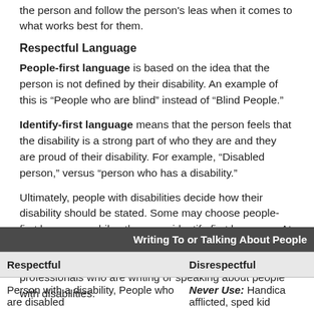the person and follow the person's leas when it comes to what works best for them.
Respectful Language
People-first language is based on the idea that the person is not defined by their disability.  An example of this is “People who are blind” instead of “Blind People.”
Identify-first language means that the person feels that the disability is a strong part of who they are and they are proud of their disability. For example, “Disabled person,” versus “person who has a disability.”
Ultimately, people with disabilities decide how their disability should be stated. Some may choose people-first language, while others use identify-first language. At this time, people first language is recommended for use by anyone who doesn’t have a disability and for professionals who are writing or speaking about people with disabilities.
| Respectful | Disrespectful |
| --- | --- |
| Person with a disability, People who are disabled | Never Use: Handica... afflicted, sped kid |